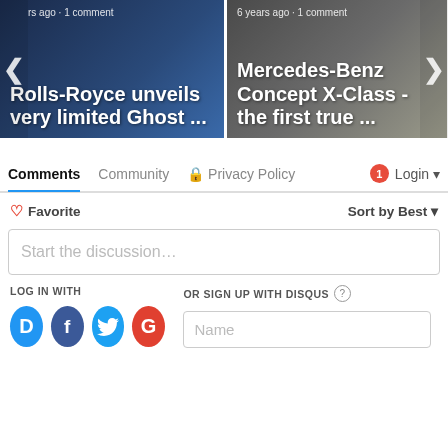[Figure (screenshot): Carousel with two article cards: 'Rolls-Royce unveils very limited Ghost ...' and 'Mercedes-Benz Concept X-Class - the first true ...' with navigation arrows]
Comments  Community  Privacy Policy  Login
Favorite  Sort by Best
Start the discussion…
LOG IN WITH
OR SIGN UP WITH DISQUS
Name